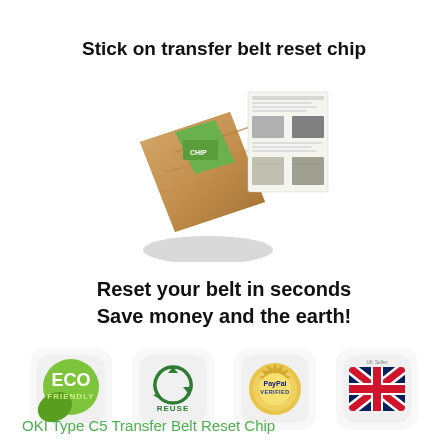Stick on transfer belt reset chip
[Figure (photo): Product photo showing a transfer belt reset chip (a small brown adhesive chip) alongside an instruction sheet with text and images.]
Reset your belt in seconds
Save money and the earth!
[Figure (infographic): Four badge icons: ECO FRIENDLY green badge, REUSE recycling badge, PayPal Verified gold seal, and UK flag badge.]
OKI Type C5 Transfer Belt Reset Chip